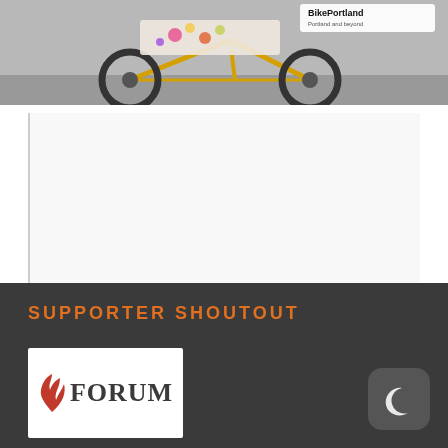[Figure (photo): A decorated yellow cargo bicycle with flowers and items on it, with a BikePortland logo badge in the upper right corner]
[Figure (other): A comment/content block area with a left border, light background, appears to be a web page comment section]
SUPPORTER SHOUTOUT
[Figure (logo): Forum logo with a red flame icon and the word FORUM in dark serif text on a white background]
[Figure (other): Dark mode toggle button — rounded square dark grey button with a crescent moon icon]